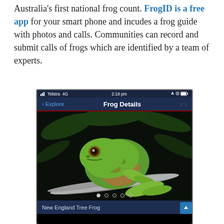Australia's first national frog count. FrogID is a free app for your smart phone and incudes a frog guide with photos and calls. Communities can record and submit calls of frogs which are identified by a team of experts.
[Figure (screenshot): Screenshot of the FrogID mobile app showing the 'Frog Details' screen with a photo of a New England Tree Frog perched on a branch. The app interface shows Telstra 4G signal, 2:19 pm time, navigation arrows, and a dark blue header/footer.]